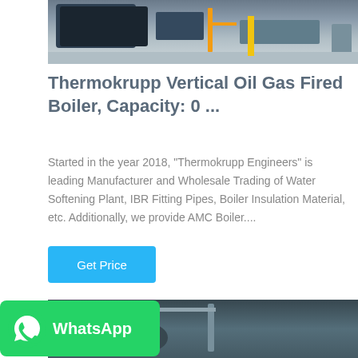[Figure (photo): Industrial boiler equipment photo — top portion showing dark machinery with yellow pipe fitting against light background]
Thermokrupp Vertical Oil Gas Fired Boiler, Capacity: 0 ...
Started in the year 2018, "Thermokrupp Engineers" is leading Manufacturer and Wholesale Trading of Water Softening Plant, IBR Fitting Pipes, Boiler Insulation Material, etc. Additionally, we provide AMC Boiler....
[Figure (infographic): Get Price button — blue rectangular button with white text]
[Figure (photo): Industrial boiler/piping equipment photo — bottom portion showing dark industrial interior with pipes and cylindrical tanks]
[Figure (logo): WhatsApp badge — green rounded rectangle with WhatsApp phone icon and 'WhatsApp' text in white]